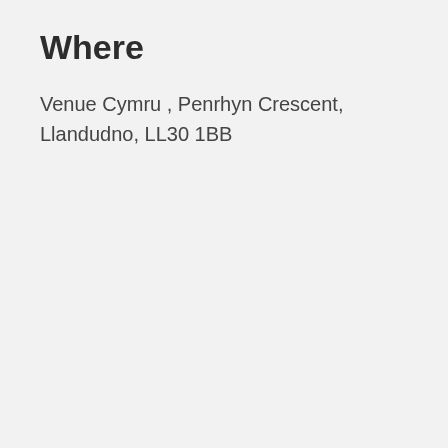Where
Venue Cymru , Penrhyn Crescent, Llandudno, LL30 1BB